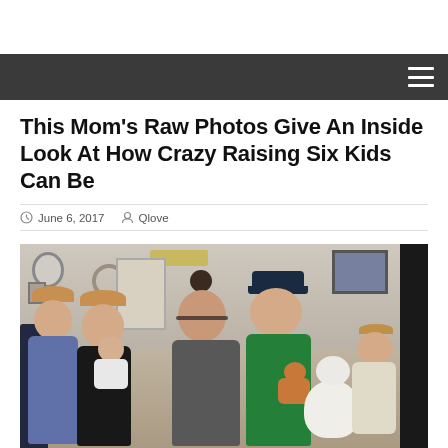This Mom’s Raw Photos Give An Inside Look At How Crazy Raising Six Kids Can Be
June 6, 2017  Qlove
[Figure (photo): A mother sitting on a couch with six children, a white fluffy dog, and an orange cat. Family photo in a home living room setting.]